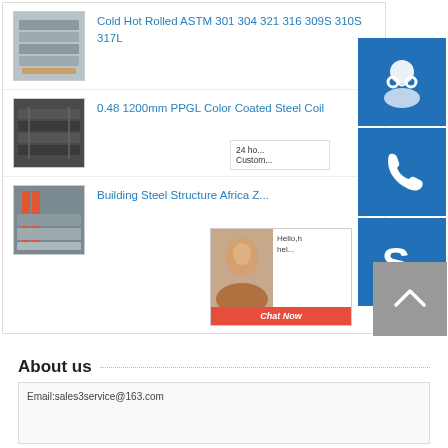[Figure (screenshot): Product listing: Cold Hot Rolled ASTM 301 304 321 316 309S 310S 317L - thumbnail of stacked steel sheets]
Cold Hot Rolled ASTM 301 304 321 316 309S 310S 317L
[Figure (screenshot): Product listing: 0.48 1200mm PPGL Color Coated Steel Coil - thumbnail of dark steel coils]
0.48 1200mm PPGL Color Coated Steel Coil
[Figure (screenshot): Product listing: Building Steel Structure Africa Z... - thumbnail of steel structure]
Building Steel Structure Africa Z...
[Figure (infographic): Customer service sidebar: 24 hour support icon, phone icon, Skype icon (blue buttons), chat popup with Hello help message and Chat Now button, scroll-to-top button]
About us
[Figure (screenshot): About us box starting with email address]
Email:sales3service@163.com